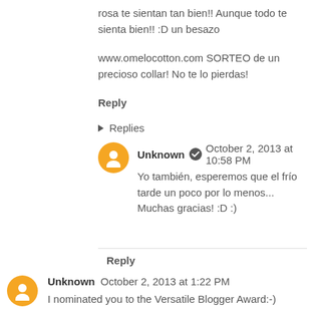rosa te sientan tan bien!! Aunque todo te sienta bien!! :D un besazo
www.omelocotton.com SORTEO de un precioso collar! No te lo pierdas!
Reply
Replies
Unknown ✓ October 2, 2013 at 10:58 PM
Yo también, esperemos que el frío tarde un poco por lo menos...
Muchas gracias! :D :)
Reply
Unknown October 2, 2013 at 1:22 PM
I nominated you to the Versatile Blogger Award:-)